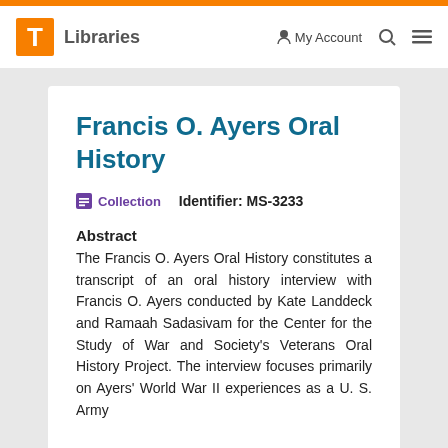T Libraries  My Account  Search  Menu
Francis O. Ayers Oral History
Collection   Identifier: MS-3233
Abstract
The Francis O. Ayers Oral History constitutes a transcript of an oral history interview with Francis O. Ayers conducted by Kate Landdeck and Ramaah Sadasivam for the Center for the Study of War and Society's Veterans Oral History Project. The interview focuses primarily on Ayers' World War II experiences as a U. S. Army